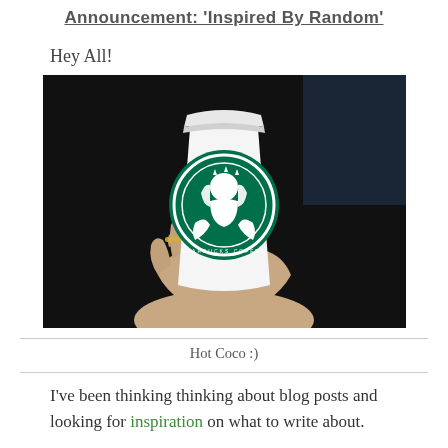Announcement: 'Inspired By Random'
Hey All!
[Figure (photo): A hand holding a white Starbucks cup with the green Starbucks mermaid logo, with a dark background.]
Hot Coco :)
I've been thinking thinking about blog posts and looking for inspiration on what to write about.